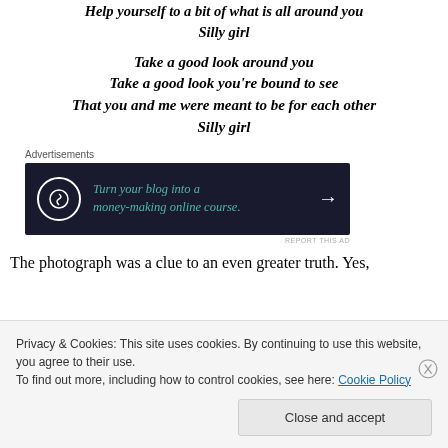Help yourself to a bit of what is all around you
Silly girl
Take a good look around you
Take a good look you're bound to see
That you and me were meant to be for each other
Silly girl
[Figure (other): Advertisement banner: dark background with icon and text 'Turn your blog into a money-making online course.' with arrow]
The photograph was a clue to an even greater truth. Yes,
Privacy & Cookies: This site uses cookies. By continuing to use this website, you agree to their use.
To find out more, including how to control cookies, see here: Cookie Policy